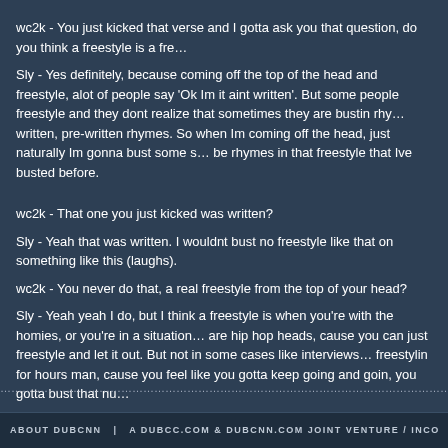wc2k - You just kicked that verse and I gotta ask you that question, do you think a freestyle is a fre…
Sly - Yes definitely, because coming off the top of the head and freestyle, alot of people say 'Ok Im it aint written'. But some people freestyle and they dont realize that sometimes they are bustin rhy… written, pre-written rhymes. So when Im coming off the head, just naturally Im gonna bust some s… be rhymes in that freestyle that Ive busted before.
wc2k - That one you just kicked was written?
Sly - Yeah that was written. I wouldnt bust no freestyle like that on something like this (laughs).
wc2k - You never do that, a real freestyle from the top of your head?
Sly - Yeah yeah I do, but I think a freestyle is when you're with the homies, or you're in a situation… are hip hop heads, cause you can just freestyle and let it out. But not in some cases like interviews… freestylin for hours man, cause you feel like you gotta keep going and goin, you gotta bust that nu…
Aight thats basically it. Thanks for takin the time to speak to us and keep doin the damn thang.
Sly - Aww thank you man, I appreciate all the support and everything, much love. Good lookin ou…
ABOUT DUBCNN  |  A DUBCC.COM & DUBCNN.COM JOINT VENTURE / INCORPORATING WESTO…